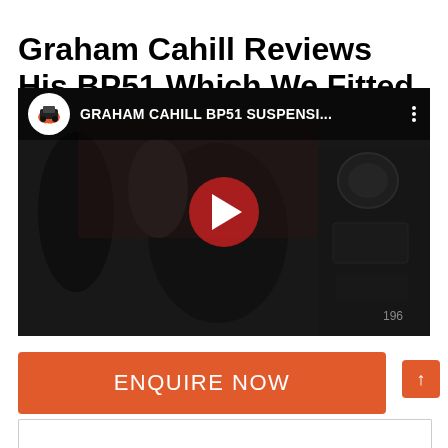Graham Cahill Reviews His BP51 Which We Fitted At Adventure 4×4
[Figure (screenshot): YouTube video thumbnail showing Graham Cahill BP51 Suspension review video embedded on a webpage. The thumbnail shows a man in dark clothing standing near a vehicle in a dark setting, with a YouTube play button overlay. The video title bar reads 'GRAHAM CAHILL BP51 SUSPENSI...' with a channel logo on the left.]
ENQUIRE NOW
[Figure (other): Orange scroll-to-top button with upward arrow in the bottom right corner]